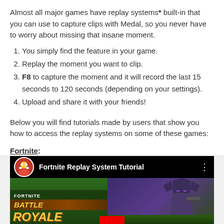Almost all major games have replay systems* built-in that you can use to capture clips with Medal, so you never have to worry about missing that insane moment.
You simply find the feature in your game.
Replay the moment you want to clip.
F8 to capture the moment and it will record the last 15 seconds to 120 seconds (depending on your settings).
Upload and share it with your friends!
Below you will find tutorials made by users that show you how to access the replay systems on some of these games:
Fortnite:
[Figure (screenshot): YouTube video thumbnail for 'Fortnite Replay System Tutorial' showing a Fortnite Battle Royale logo on the left and a dark hooded character with glowing purple eyes on the right, with a channel avatar icon and video title in the top bar.]